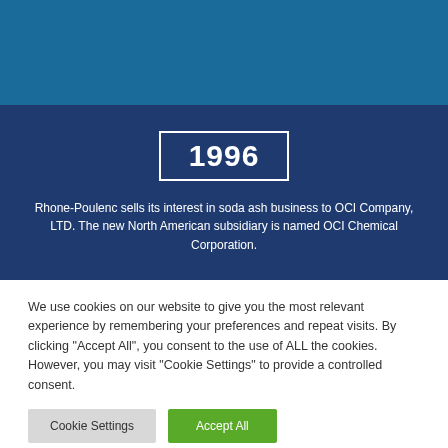[Figure (other): Dark blue banner with year '1996' displayed in a white-bordered box, and caption text about Rhone-Poulenc selling soda ash business to OCI Company.]
We use cookies on our website to give you the most relevant experience by remembering your preferences and repeat visits. By clicking "Accept All", you consent to the use of ALL the cookies. However, you may visit "Cookie Settings" to provide a controlled consent.
Cookie Settings | Accept All